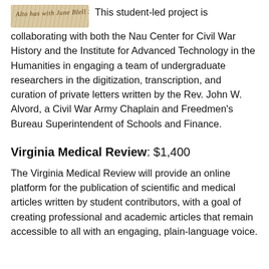[Figure (photo): Partial image of handwritten cursive text on aged/sepia paper, cropped at top]
This student-led project is collaborating with both the Nau Center for Civil War History and the Institute for Advanced Technology in the Humanities in engaging a team of undergraduate researchers in the digitization, transcription, and curation of private letters written by the Rev. John W. Alvord, a Civil War Army Chaplain and Freedmen's Bureau Superintendent of Schools and Finance.
Virginia Medical Review: $1,400
The Virginia Medical Review will provide an online platform for the publication of scientific and medical articles written by student contributors, with a goal of creating professional and academic articles that remain accessible to all with an engaging, plain-language voice.